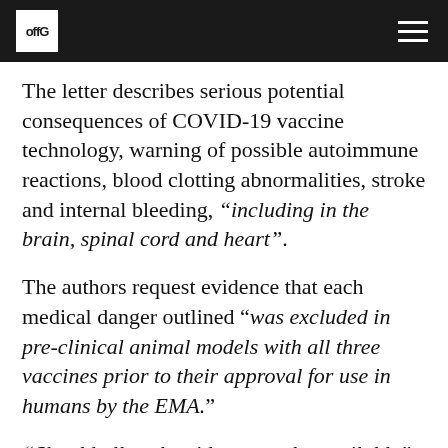offG
The letter describes serious potential consequences of COVID-19 vaccine technology, warning of possible autoimmune reactions, blood clotting abnormalities, stroke and internal bleeding, “including in the brain, spinal cord and heart”.
The authors request evidence that each medical danger outlined “was excluded in pre-clinical animal models with all three vaccines prior to their approval for use in humans by the EMA.”
“Should all such evidence not be available”, the